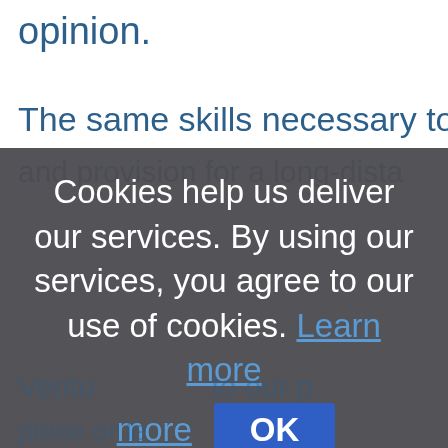opinion.
The same skills necessary to pr
and provision for a long-dista
Cookies help us deliver our services. By using our services, you agree to our use of cookies. Learn more
OK
Ventu more to our p
piece or lem